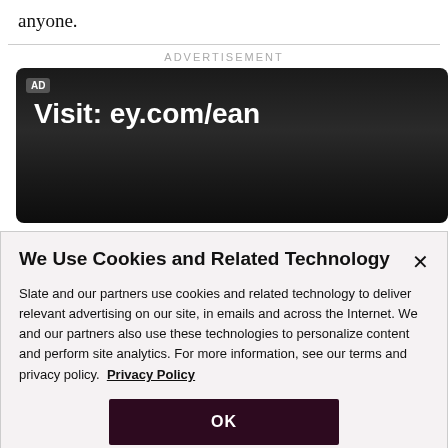anyone.
ADVERTISEMENT
[Figure (screenshot): Dark advertisement banner with 'AD' badge and text 'Visit: ey.com/ean' in white on dark background]
We Use Cookies and Related Technology
Slate and our partners use cookies and related technology to deliver relevant advertising on our site, in emails and across the Internet. We and our partners also use these technologies to personalize content and perform site analytics. For more information, see our terms and privacy policy. Privacy Policy
OK